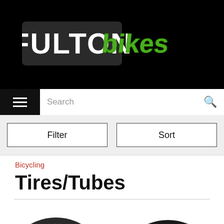[Figure (logo): Fulton Bikes logo on black background, with bold white text 'FULTON' and green graffiti-style text 'bikes']
Search
Filter
Sort
Bicycling
Tires/Tubes
[Figure (photo): Two bicycle tires shown partially — a dark knobby tire on the left and a Continental road tire on the right, both cropped at the bottom of the page]